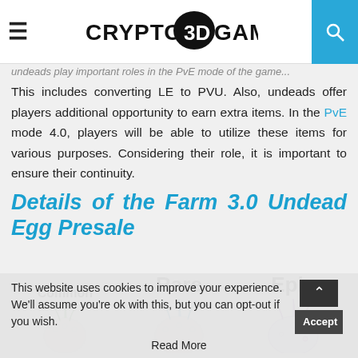CRYPTO3DGAMES
undeads play important roles in the PvE mode of the game. This includes converting LE to PVU. Also, undeads offer players additional opportunity to earn extra items. In the PvE mode 4.0, players will be able to utilize these items for various purposes. Considering their role, it is important to ensure their continuity.
Details of the Farm 3.0 Undead Egg Presale
[Figure (illustration): Three undead egg types labeled Common, Rare, and Epic, each shown as a cartoon egg with horns in different colors (green, blue, purple).]
This website uses cookies to improve your experience. We'll assume you're ok with this, but you can opt-out if you wish. Accept Read More